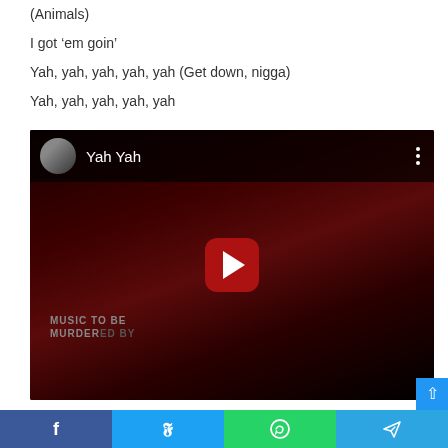(Animals)
I got ‘em goin’
Yah, yah, yah, yah, yah (Get down, nigga)
Yah, yah, yah, yah, yah
[Figure (screenshot): YouTube video embed showing 'Yah Yah' music video thumbnail with dark red curtain background and 'MUSIC TO BE MURDERED BY' text visible. Has play button in center and avatar/title in top bar.]
Facebook | Twitter | WhatsApp | Telegram